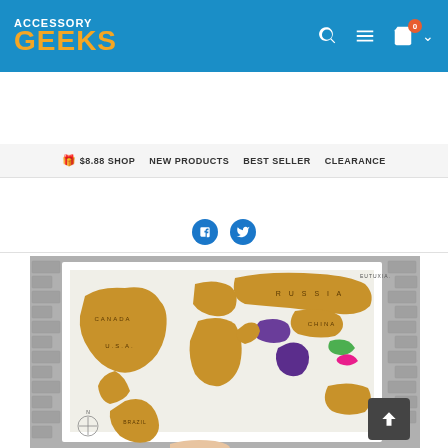[Figure (logo): Accessory Geeks logo with white 'ACCESSORY' text and orange 'GEEKS' text on blue background header, with search, menu, and cart icons]
🎁 $8.88 SHOP   NEW PRODUCTS   BEST SELLER   CLEARANCE
[Figure (other): Two blue social media share/follow icons (Facebook-style thumb icons)]
Details
[Figure (photo): Scratch-off world map poster showing golden metallic surface with CANADA, U.S.A., RUSSIA, CHINA labels visible, with some regions scratched off revealing colorful map underneath. Map is framed in white and set against a brick wall background. EUTUXIA brand logo visible in upper right corner of map. A person's hand is visible at the bottom holding the map.]